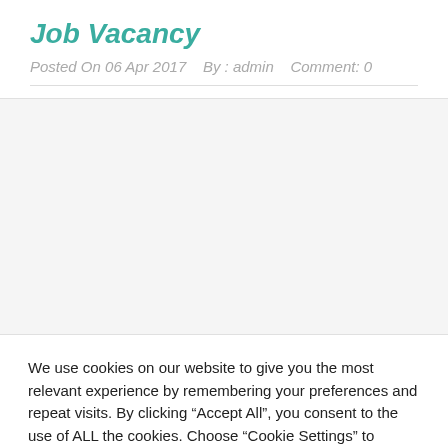Job Vacancy
Posted On 06 Apr 2017   By : admin   Comment: 0
We use cookies on our website to give you the most relevant experience by remembering your preferences and repeat visits. By clicking “Accept All”, you consent to the use of ALL the cookies. Choose "Cookie Settings" to provide controlled consent.
Cookie Settings   Accept All   English